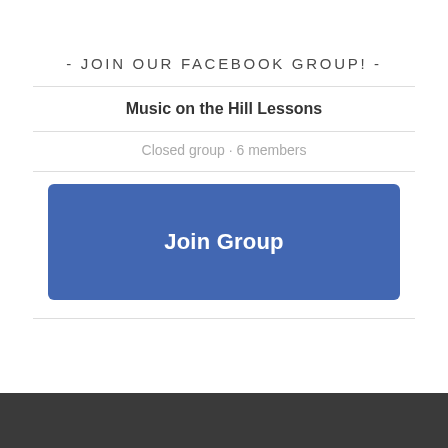- JOIN OUR FACEBOOK GROUP! -
Music on the Hill Lessons
Closed group · 6 members
[Figure (screenshot): Blue Facebook 'Join Group' button]